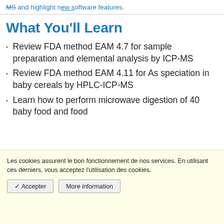MS and highlight new software features.
What You'll Learn
Review FDA method EAM 4.7 for sample preparation and elemental analysis by ICP-MS
Review FDA method EAM 4.11 for As speciation in baby cereals by HPLC-ICP-MS
Learn how to perform microwave digestion of 40 baby food and food
Les cookies assurent le bon fonctionnement de nos services. En utilisant ces derniers, vous acceptez l'utilisation des cookies.
✓ Accepter   More information